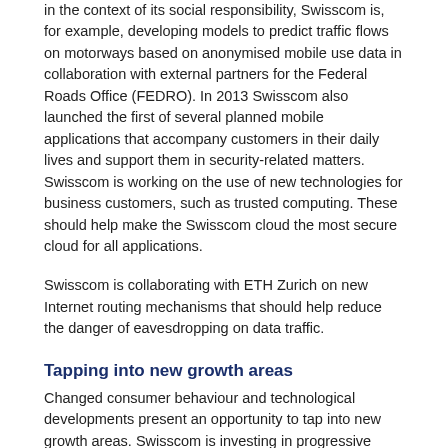in the context of its social responsibility, Swisscom is, for example, developing models to predict traffic flows on motorways based on anonymised mobile use data in collaboration with external partners for the Federal Roads Office (FEDRO). In 2013 Swisscom also launched the first of several planned mobile applications that accompany customers in their daily lives and support them in security-related matters. Swisscom is working on the use of new technologies for business customers, such as trusted computing. These should help make the Swisscom cloud the most secure cloud for all applications.
Swisscom is collaborating with ETH Zurich on new Internet routing mechanisms that should help reduce the danger of eavesdropping on data traffic.
Tapping into new growth areas
Changed consumer behaviour and technological developments present an opportunity to tap into new growth areas. Swisscom is investing in progressive solutions in the financial sector, the public health sector, the dynamic control of energy consumption and the intelligent networking and control of appliances for in the home, for transport and logistics or for security technology.
See